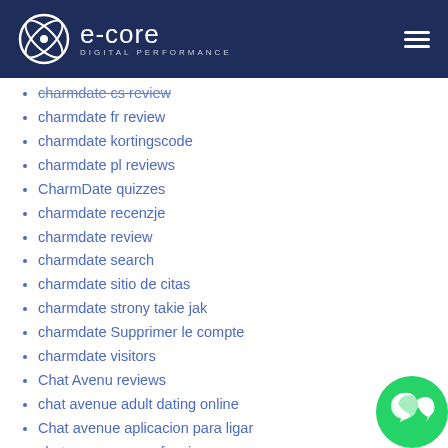e-core DIGITAL PERFORMANCE
charmdate cs review
charmdate fr review
charmdate kortingscode
charmdate pl reviews
CharmDate quizzes
charmdate recenzje
charmdate review
charmdate search
charmdate sitio de citas
charmdate strony takie jak
charmdate Supprimer le compte
charmdate visitors
Chat Avenu reviews
chat avenue adult dating online
Chat avenue aplicacion para ligar
chat avenue como funciona
chat avenue cs review
chat avenue fr review
chat avenue good dating apps
chat avenue kostenlos
Chat Avenue meet site